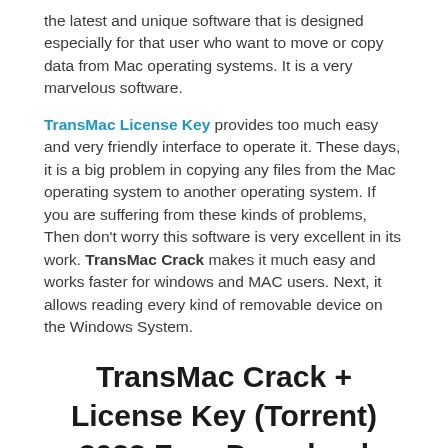the latest and unique software that is designed especially for that user who want to move or copy data from Mac operating systems. It is a very marvelous software.
TransMac License Key provides too much easy and very friendly interface to operate it. These days, it is a big problem in copying any files from the Mac operating system to another operating system. If you are suffering from these kinds of problems, Then don't worry this software is very excellent in its work. TransMac Crack makes it much easy and works faster for windows and MAC users. Next, it allows reading every kind of removable device on the Windows System.
TransMac Crack + License Key (Torrent) 2022 Free Download